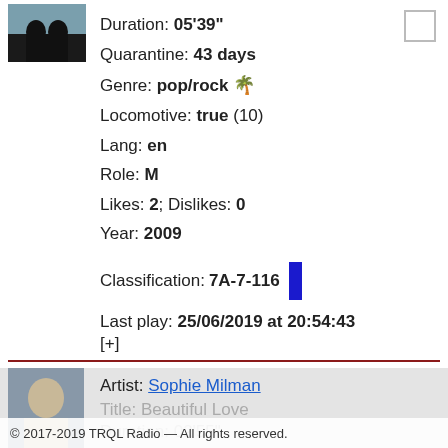[Figure (photo): Small thumbnail photo of a person, upper body, dark background]
Duration: 05'39"
Quarantine: 43 days
Genre: pop/rock 🌴
Locomotive: true (10)
Lang: en
Role: M
Likes: 2; Dislikes: 0
Year: 2009
Classification: 7A-7-116
Last play: 25/06/2019 at 20:54:43
[+]
Artist: Sophie Milman
Title: Beautiful Love
Duration: 02'55"
© 2017-2019 TRQL Radio — All rights reserved.